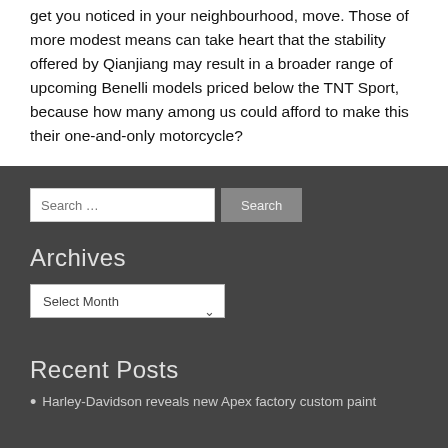get you noticed in your neighbourhood, move. Those of more modest means can take heart that the stability offered by Qianjiang may result in a broader range of upcoming Benelli models priced below the TNT Sport, because how many among us could afford to make this their one-and-only motorcycle?
Archives
Recent Posts
Harley-Davidson reveals new Apex factory custom paint